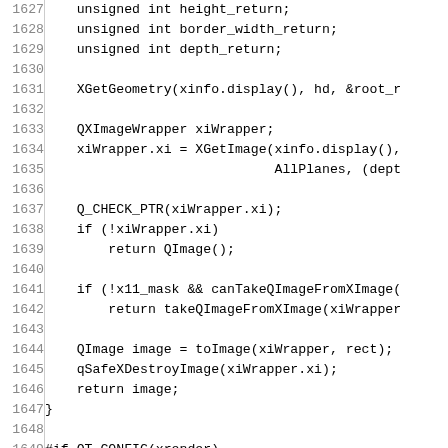[Figure (other): Source code listing in monospace font with line numbers 1627-1657, showing C++ code for XGetGeometry, QXImageWrapper, Q_CHECK_PTR, QImage handling, and XRenderPictFormat functions.]